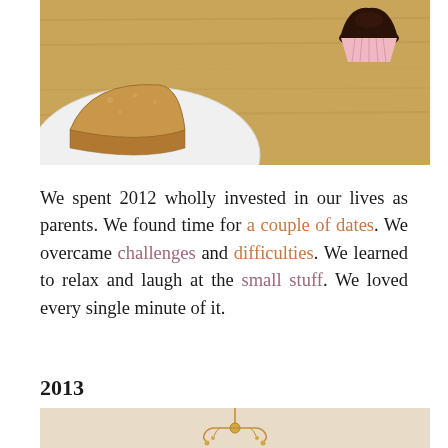[Figure (photo): Photo of baked goods on a wooden table: a slice of cake on a white plate on the left, and a chocolate cupcake in a pink/white wrapper on the right]
We spent 2012 wholly invested in our lives as parents. We found time for a couple of dates. We overcame challenges and difficulties. We learned to relax and laugh at the small stuff. We loved every single minute of it.
2013
[Figure (photo): Photo of a decorative chandelier hanging, warm lighting, partially visible at the bottom of the page]